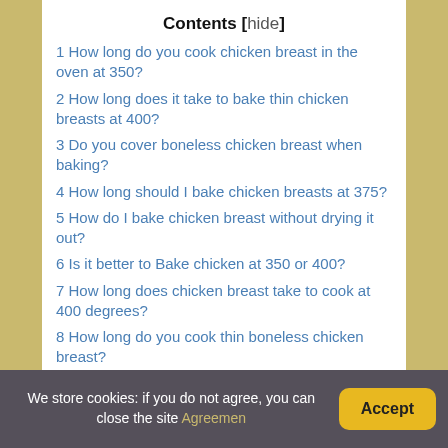Contents [hide]
1 How long do you cook chicken breast in the oven at 350?
2 How long does it take to bake thin chicken breasts at 400?
3 Do you cover boneless chicken breast when baking?
4 How long should I bake chicken breasts at 375?
5 How do I bake chicken breast without drying it out?
6 Is it better to Bake chicken at 350 or 400?
7 How long does chicken breast take to cook at 400 degrees?
8 How long do you cook thin boneless chicken breast?
9 How do you cook thin boneless chicken breast?
10 How do you keep boneless chicken breast moist?
11 Is it better to cover chicken with foil when baking?
We store cookies: if you do not agree, you can close the site Agreemen